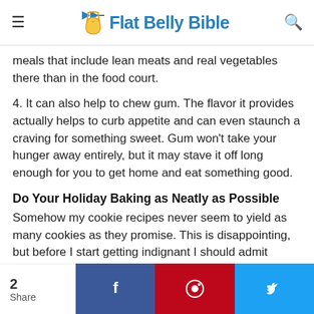Flat Belly Bible
meals that include lean meats and real vegetables there than in the food court.
4. It can also help to chew gum. The flavor it provides actually helps to curb appetite and can even staunch a craving for something sweet. Gum won't take your hunger away entirely, but it may stave it off long enough for you to get home and eat something good.
Do Your Holiday Baking as Neatly as Possible
Somehow my cookie recipes never seem to yield as many cookies as they promise. This is disappointing, but before I start getting indignant I should admit